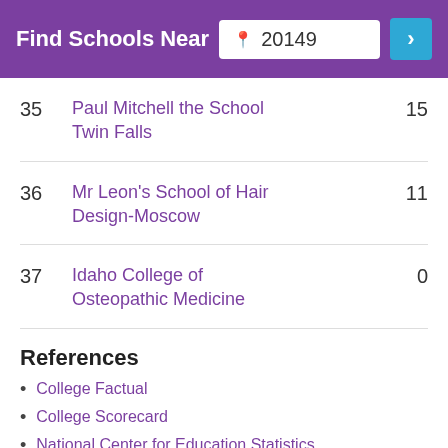Find Schools Near 20149
| Rank | School | Score |
| --- | --- | --- |
| 35 | Paul Mitchell the School Twin Falls | 15 |
| 36 | Mr Leon's School of Hair Design-Moscow | 11 |
| 37 | Idaho College of Osteopathic Medicine | 0 |
References
College Factual
College Scorecard
National Center for Education Statistics
O*NET Online
More about our data sources and methodologies